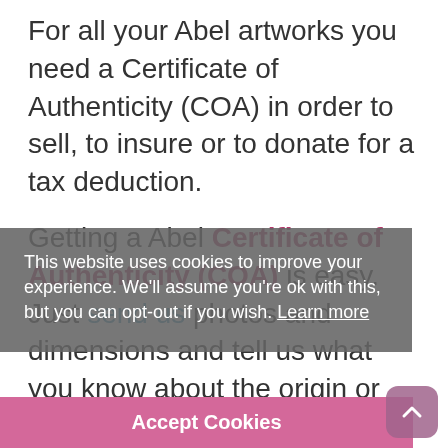For all your Abel artworks you need a Certificate of Authenticity (COA) in order to sell, to insure or to donate for a tax deduction.
Getting a Abel Certificate of Authenticity (COA) is easy. Just send us photos and dimensions and tell us what you know about the origin or history of your Abel painting or drawing.
If you want to sell your Abel painting or drawing use our selling services. We offer Abel selling help, selling advice,
This website uses cookies to improve your experience. We'll assume you're ok with this, but you can opt-out if you wish. Learn more
Accept Cookies